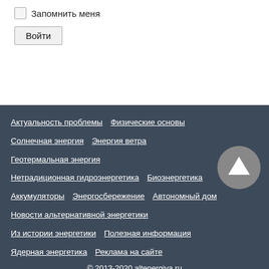Запомнить меня
Войти
Актуальность проблемы   Физические основы
Солнечная энергия   Энергия ветра
Геотермальная энергия
Нетрадиционная гидроэнергетика   Биоэнергетика
Аккумуляторы   Энергосбережение   Автономный дом
Новости альтернативной энергетики
Из истории энергетики   Полезная информация
Ядерная энергетика   Реклама на сайте
© 2013-2020 altenergiya.ru